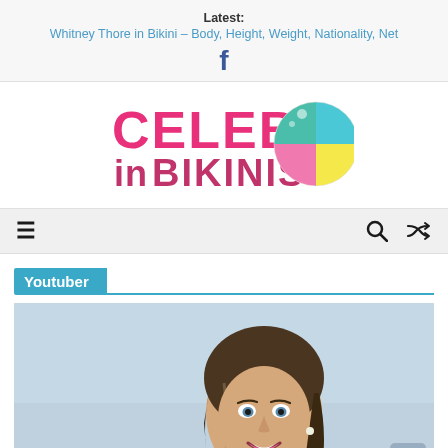Latest: Whitney Thore in Bikini – Body, Height, Weight, Nationality, Net
[Figure (logo): Celebs in Bikinis logo with beach ball graphic. CELEBS in BIKINIS text in pink and magenta with a colorful beach ball.]
Youtuber
[Figure (photo): Portrait photo of a smiling woman with brown highlighted hair against a light blue/grey background.]